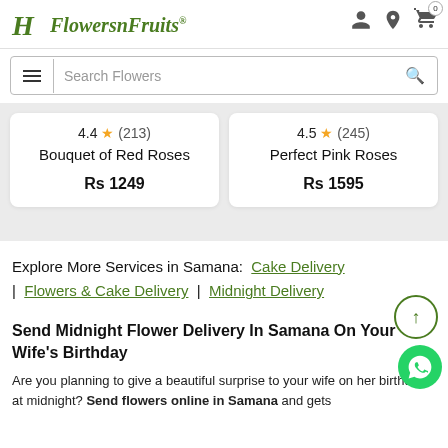Flowers n Fruits
[Figure (screenshot): Search bar with hamburger menu and magnifier icon]
4.4 ★ (213) Bouquet of Red Roses Rs 1249
4.5 ★ (245) Perfect Pink Roses Rs 1595
Explore More Services in Samana: Cake Delivery | Flowers & Cake Delivery | Midnight Delivery
Send Midnight Flower Delivery In Samana On Your Wife's Birthday
Are you planning to give a beautiful surprise to your wife on her birthday at midnight? Send flowers online in Samana and gets